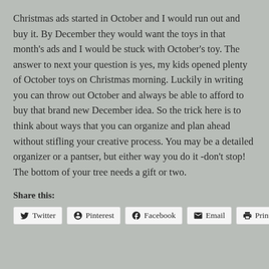Christmas ads started in October and I would run out and buy it. By December they would want the toys in that month's ads and I would be stuck with October's toy. The answer to next your question is yes, my kids opened plenty of October toys on Christmas morning. Luckily in writing you can throw out October and always be able to afford to buy that brand new December idea. So the trick here is to think about ways that you can organize and plan ahead without stifling your creative process. You may be a detailed organizer or a pantser, but either way you do it -don't stop! The bottom of your tree needs a gift or two.
Share this: